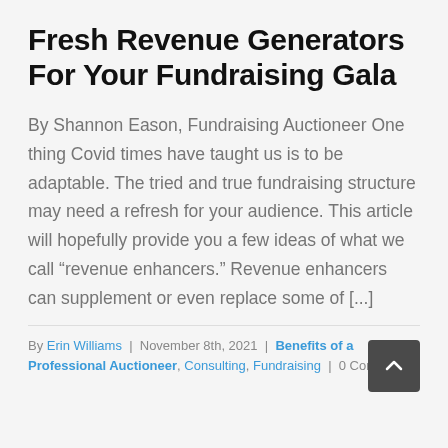Fresh Revenue Generators For Your Fundraising Gala
By Shannon Eason, Fundraising Auctioneer One thing Covid times have taught us is to be adaptable. The tried and true fundraising structure may need a refresh for your audience. This article will hopefully provide you a few ideas of what we call “revenue enhancers.” Revenue enhancers can supplement or even replace some of [...]
By Erin Williams | November 8th, 2021 | Benefits of a Professional Auctioneer, Consulting, Fundraising | 0 Comments